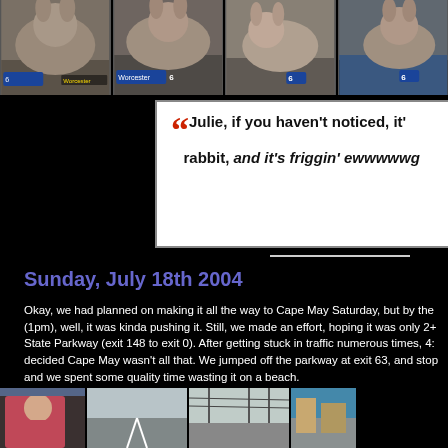[Figure (photo): Four photos of a large rabbit, appearing to be news broadcast screenshots with a channel 6 logo, shown in a horizontal row at the top of the page.]
"Julie, if you haven't noticed, it's a friggin' rabbit, and it's friggin' ewwwwwg...
Sunday, July 18th 2004
Okay, we had planned on making it all the way to Cape May Saturday, but by the (1pm), well, it was kinda pushing it. Still, we made an effort, hoping it was only 2+ State Parkway (exit 148 to exit 0). After getting stuck in traffic numerous times, 4: decided Cape May wasn't all that. We jumped off the parkway at exit 63, and stop and we spent some quality time wasting it on a beach.
[Figure (photo): Four photos showing scenes from a road trip: a woman in a pink top sitting in a car, a highway view, a street with power lines, and a partial view of a roadside location.]